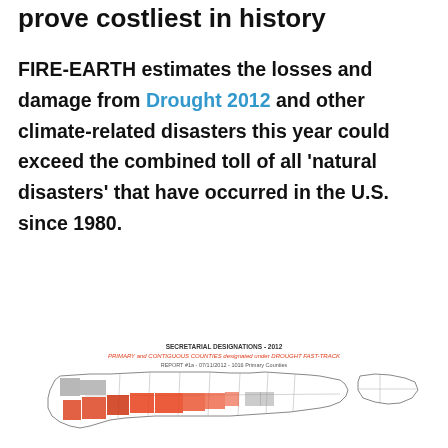prove costliest in history
FIRE-EARTH estimates the losses and damage from Drought 2012 and other climate-related disasters this year could exceed the combined toll of all 'natural disasters' that have occurred in the U.S. since 1980.
[Figure (map): US map showing Secretarial Designations 2012 - Primary and Contiguous Counties designated under Drought Fast Track, Report #1a - 07/11/2012 - 1016 Primary Counties. Counties highlighted in red/orange across the central and western US.]